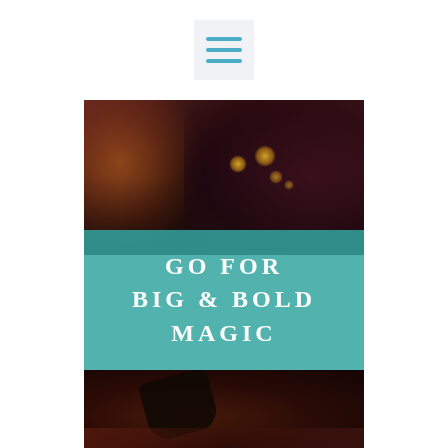[Figure (illustration): Hamburger/menu icon with three teal horizontal bars on a light gray background square]
[Figure (photo): A dark, moody portrait photo of a person with red/auburn hair in the upper portion, with bokeh golden light dots visible. A teal semi-transparent banner overlays the center reading 'GO FOR BIG & BOLD MAGIC' in large white spaced letters. The lower portion shows dark gloved hands holding something, against a deep red-brown dark background.]
GO FOR BIG & BOLD MAGIC